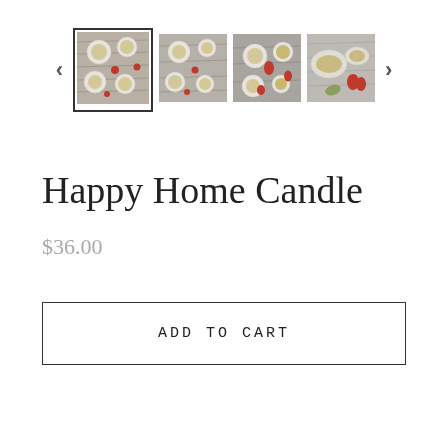[Figure (screenshot): Product image carousel showing four thumbnail images of candles in small white cups on a wooden surface with botanicals, with left and right navigation arrows. The first thumbnail is selected (outlined).]
Happy Home Candle
$36.00
ADD TO CART